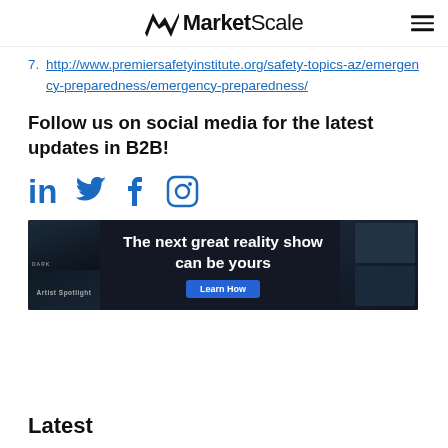MarketScale
7. http://www.premiersafetyinstitute.org/safety-topics-az/emergency-preparedness/emergency-preparedness/
Follow us on social media for the latest updates in B2B!
[Figure (infographic): Social media icons for LinkedIn, Twitter, Facebook, and Instagram in blue]
[Figure (infographic): Banner advertisement: 'The next great reality show can be yours' with a Learn How button on dark background with video thumbnails]
Latest